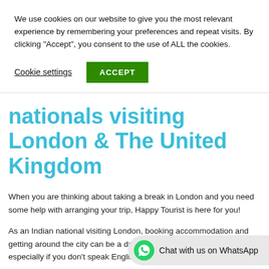We use cookies on our website to give you the most relevant experience by remembering your preferences and repeat visits. By clicking "Accept", you consent to the use of ALL the cookies.
Cookie settings | ACCEPT
nationals visiting London & The United Kingdom
When you are thinking about taking a break in London and you need some help with arranging your trip, Happy Tourist is here for you!
As an Indian national visiting London, booking accommodation and getting around the city can be a daunting or confusing experience, especially if you don't speak English w
Chat with us on WhatsApp